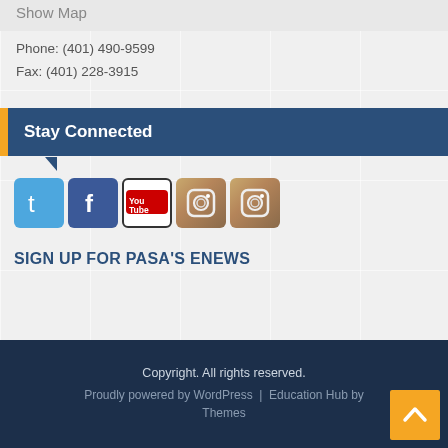Show Map
Phone: (401) 490-9599
Fax: (401) 228-3915
Stay Connected
[Figure (infographic): Social media icons: Twitter (blue bird), Facebook (blue f), YouTube (white logo on bordered box), Instagram (camera icon x2)]
SIGN UP FOR PASA'S ENEWS
Copyright. All rights reserved.
Proudly powered by WordPress | Education Hub by Themes